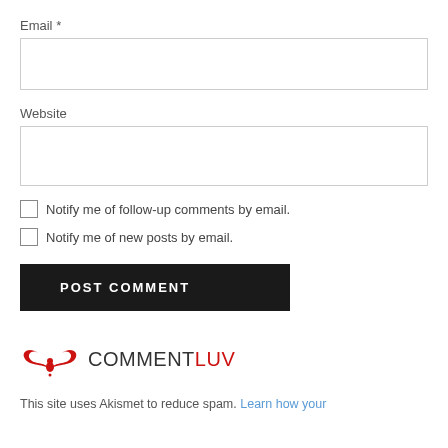Email *
[Figure (other): Email text input field (empty)]
Website
[Figure (other): Website text input field (empty)]
Notify me of follow-up comments by email.
Notify me of new posts by email.
POST COMMENT
[Figure (logo): CommentLuv logo with red wing icon and COMMENTLUV text]
This site uses Akismet to reduce spam. Learn how your